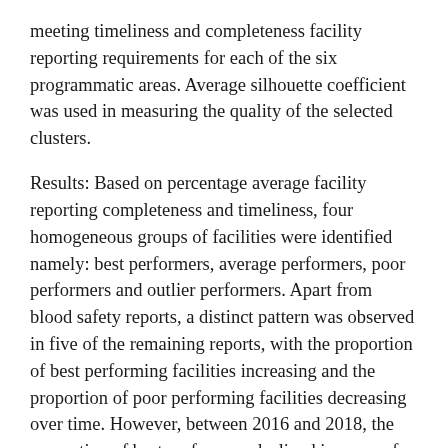meeting timeliness and completeness facility reporting requirements for each of the six programmatic areas. Average silhouette coefficient was used in measuring the quality of the selected clusters.
Results: Based on percentage average facility reporting completeness and timeliness, four homogeneous groups of facilities were identified namely: best performers, average performers, poor performers and outlier performers. Apart from blood safety reports, a distinct pattern was observed in five of the remaining reports, with the proportion of best performing facilities increasing and the proportion of poor performing facilities decreasing over time. However, between 2016 and 2018, the proportion of best performers declined in some of the programmatic areas. Over the study period, no distinct pattern or trend in proportion changes was observed among facilities in the average and outlier groups.
Conclusions: The identified clusters revealed general improvements in reporting performance in the various